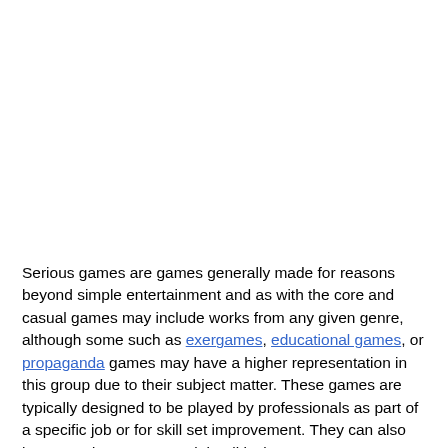Serious games are games generally made for reasons beyond simple entertainment and as with the core and casual games may include works from any given genre, although some such as exergames, educational games, or propaganda games may have a higher representation in this group due to their subject matter. These games are typically designed to be played by professionals as part of a specific job or for skill set improvement. They can also be created to convey social-political awareness on a specific subject.